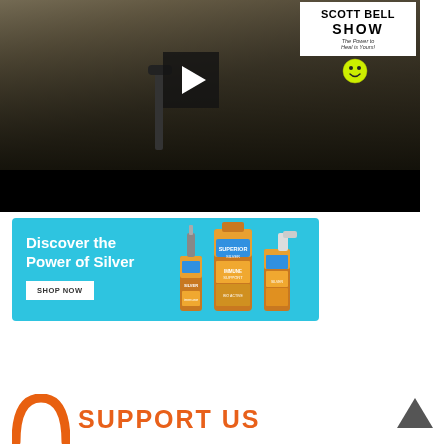[Figure (screenshot): Video player screenshot showing a podcast/radio studio setup with a person at a microphone, a play button overlay in the center, and the Scott Bell Show logo (white background, bold text 'SCOTT BELL SHOW', subtitle 'The Power to Heal is Yours!') in the upper right corner. A smiley face emoji appears in the middle right area. The lower portion of the video frame is black (letterbox).]
[Figure (photo): Advertisement banner with light blue background showing 'Discover the Power of Silver' in white bold text on the left, a white 'SHOP NOW' button below the text, and three amber/brown bottles of silver supplement products on the right side.]
[Figure (logo): Support Us section showing an orange circular logo/arc on the left, and bold orange text reading 'SUPPORT US' on the right.]